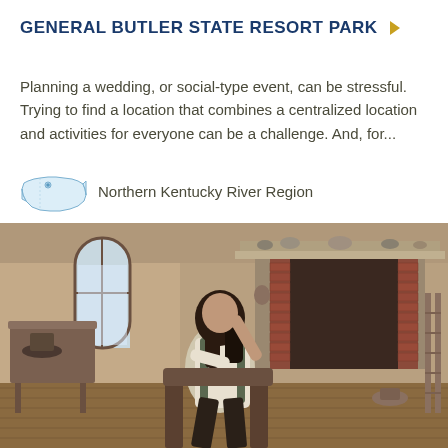GENERAL BUTLER STATE RESORT PARK
Planning a wedding, or social-type event, can be stressful. Trying to find a location that combines a centralized location and activities for everyone can be a challenge. And, for...
Northern Kentucky River Region
[Figure (photo): Interior room scene with a person seated in a chair near a brick fireplace, holding an object up. The room has wood floors, a wooden table/desk, an arched window, and items displayed on the fireplace mantel. The scene appears to be a historical or period setting.]